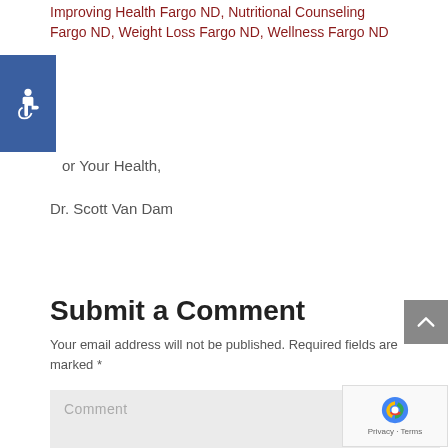Improving Health Fargo ND, Nutritional Counseling Fargo ND, Weight Loss Fargo ND, Wellness Fargo ND
[Figure (logo): Blue square accessibility icon with white wheelchair user symbol]
or Your Health,
Dr. Scott Van Dam
Submit a Comment
Your email address will not be published. Required fields are marked *
Comment